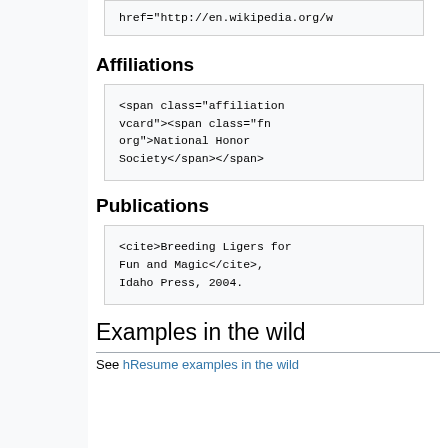href="http://en.wikipedia.org/w
Affiliations
<span class="affiliation vcard"><span class="fn org">National Honor Society</span></span>
Publications
<cite>Breeding Ligers for Fun and Magic</cite>, Idaho Press, 2004.
Examples in the wild
See hResume examples in the wild